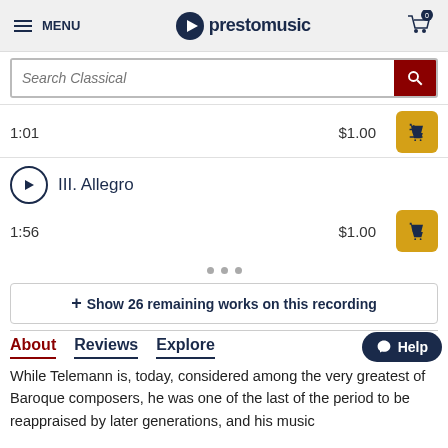MENU | prestomusic | Cart: 0
[Figure (screenshot): Search Classical input bar with dark red search button]
| 1:01 | $1.00 | Add to cart |
| III. Allegro |  |  |
| 1:56 | $1.00 | Add to cart |
• • •
+ Show 26 remaining works on this recording
About  Reviews  Explore
While Telemann is, today, considered among the very greatest of Baroque composers, he was one of the last of the period to be reappraised by later generations, and his music